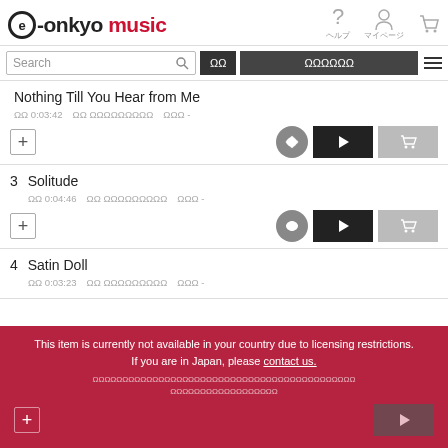[Figure (logo): e-onkyo music logo with circle e, and navigation icons for help, my page, and cart]
[Figure (screenshot): Search bar with text input, search button, two dark navigation buttons with Japanese text, and hamburger menu icon]
Nothing Till You Hear from Me
再生時間 0:03:42   ファイルフォーマット ハイレゾ   サンプリング周波数 -
3   Solitude
再生時間 0:04:46   ファイルフォーマット ハイレゾ   サンプリング周波数 -
4   Satin Doll
再生時間 0:03:23   ファイルフォーマット ハイレゾ   サンプリング周波数 -
This item is currently not available in your country due to licensing restrictions. If you are in Japan, please contact us.